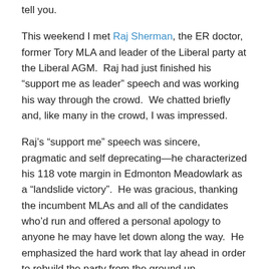tell you.
This weekend I met Raj Sherman, the ER doctor, former Tory MLA and leader of the Liberal party at the Liberal AGM. Raj had just finished his “support me as leader” speech and was working his way through the crowd. We chatted briefly and, like many in the crowd, I was impressed.
Raj’s “support me” speech was sincere, pragmatic and self deprecating—he characterized his 118 vote margin in Edmonton Meadowlark as a “landslide victory”. He was gracious, thanking the incumbent MLAs and all of the candidates who’d run and offered a personal apology to anyone he may have let down along the way. He emphasized the hard work that lay ahead in order to rebuild the party from the ground up.